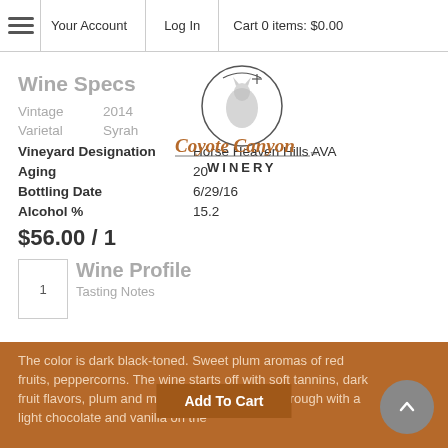≡   Your Account   |   Log In   |   Cart 0 items: $0.00
[Figure (logo): Coyote Canyon Winery logo — circular emblem with coyote and moon above cursive 'Coyote Canyon' text and 'WINERY' in caps]
Wine Specs
Vintage   2014
Varietal   Syrah
Vineyard Designation   Horse Heaven Hills AVA
Aging   20
Bottling Date   6/29/16
Alcohol %   15.2
$56.00 / 1
Wine Profile
Tasting Notes
The color is dark black-toned. Sweet plum aromas of red fruits, peppercorns. The wine starts off with soft tannins, dark fruit flavors, plum and mild blackberry comes through with a light chocolate and vanilla on the